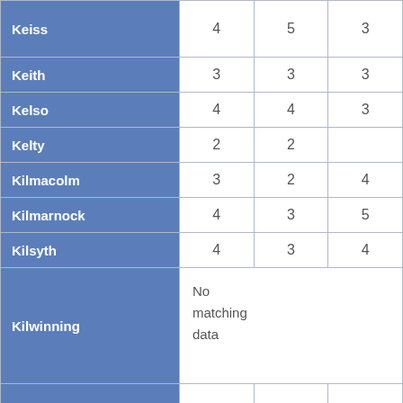| Location | Col1 | Col2 | Col3 |
| --- | --- | --- | --- |
| Keiss | 4 | 5 | 3 |
| Keith | 3 | 3 | 3 |
| Kelso | 4 | 4 | 3 |
| Kelty | 2 | 2 |  |
| Kilmacolm | 3 | 2 | 4 |
| Kilmarnock | 4 | 3 | 5 |
| Kilsyth | 4 | 3 | 4 |
| Kilwinning | No matching data |  |  |
| Kirkcaldy | 5 | 4 | 5 |
| Kirkcudbright | 3 | 4 | 2 |